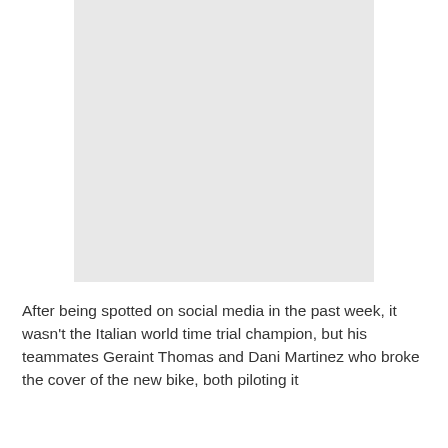[Figure (photo): A light gray placeholder rectangle representing a photo of a bicycle or cyclist, likely the new bike mentioned in the text.]
After being spotted on social media in the past week, it wasn't the Italian world time trial champion, but his teammates Geraint Thomas and Dani Martinez who broke the cover of the new bike, both piloting it